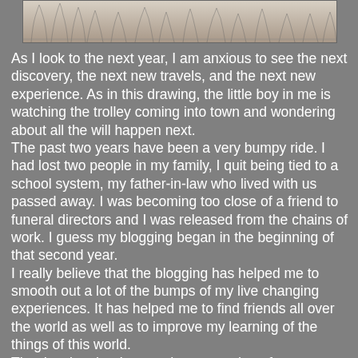[Figure (illustration): A pencil sketch drawing at the top of the page showing a winter landscape scene, likely with trees and a trolley or railway scene in a sketchy, detailed drawing style.]
As I look to the next year, I am anxious to see the next discovery, the next new travels, and the next new experience.  As in this drawing, the little boy in me is watching the trolley coming into town and wondering about all the will happen next.
The past two years have been a very bumpy ride.  I had lost two people in my family, I quit being tied to a school system, my father-in-law who lived with us passed away. I was becoming too close of a friend to funeral directors and I was released from the chains of work. I guess my blogging began in the beginning of that second year.
I really believe that the blogging has helped me to smooth out a lot of the bumps of my live changing experiences.  It has helped me to find friends all over the world as well as to improve my learning of the things of this world.
The drawing that I created was one done for a man who remembered the trolley, interurban railway, that came into town daily.  He was revisiting his childhood through my drawing.  I can see the drawing as the beginning of my first